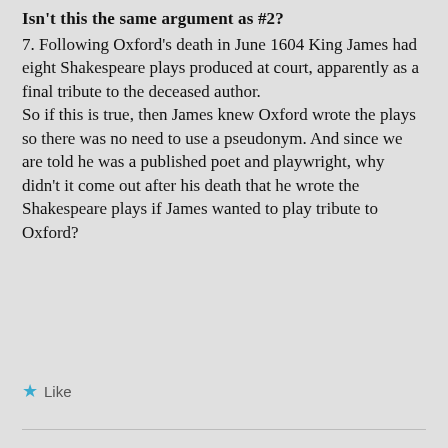Isn't this the same argument as #2?
7. Following Oxford's death in June 1604 King James had eight Shakespeare plays produced at court, apparently as a final tribute to the deceased author.
So if this is true, then James knew Oxford wrote the plays so there was no need to use a pseudonym. And since we are told he was a published poet and playwright, why didn't it come out after his death that he wrote the Shakespeare plays if James wanted to play tribute to Oxford?
★ Like